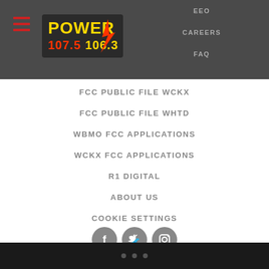[Figure (logo): Power 107.5 106.3 radio station logo with yellow bold text and red lightning bolt]
EEO
CAREERS
FAQ
FCC PUBLIC FILE WCKX
FCC PUBLIC FILE WHTD
WBMO FCC APPLICATIONS
WCKX FCC APPLICATIONS
R1 DIGITAL
ABOUT US
COOKIE SETTINGS
[Figure (infographic): Three social media icons: Facebook, Twitter, Instagram — grey circular buttons]